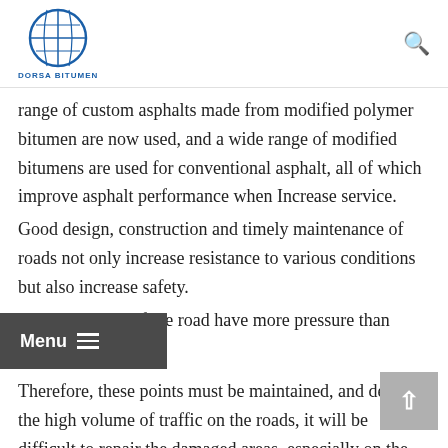DORSA BITUMEN
range of custom asphalts made from modified polymer bitumen are now used, and a wide range of modified bitumens are used for conventional asphalt, all of which improve asphalt performance when Increase service.
Good design, construction and timely maintenance of roads not only increase resistance to various conditions but also increase safety.
However, parts of the road have more pressure than others.
Therefore, these points must be maintained, and despite the high volume of traffic on the roads, it will be difficult to repair the damaged areas, especially on the bridges, so the modified polymer bitumen in the preparation of asphalt